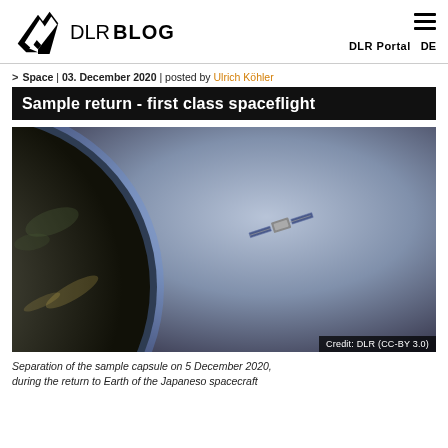DLR BLOG — DLR Portal  DE
> Space | 03. December 2020 | posted by Ulrich Köhler
Sample return - first class spaceflight
[Figure (photo): Spacecraft near Earth with the planet visible in the lower-left and a small satellite with solar panels in the center-right, set against a hazy blue-grey space background.]
Separation of the sample capsule on 5 December 2020, during the return to Earth of the Japanese spacecraft